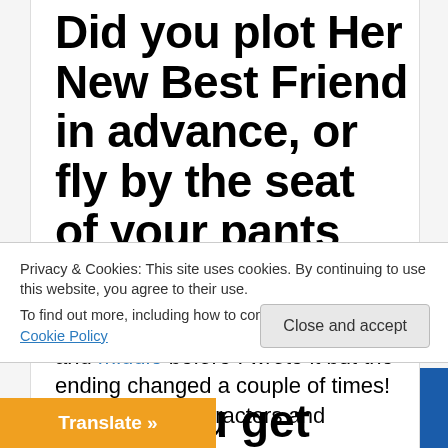Did you plot Her New Best Friend in advance, or fly by the seat of your pants and write freely?
A bit of both. I knew the beginning and middle before I wrote it but the ending changed a couple of times! Some of the characters and…
Privacy & Cookies: This site uses cookies. By continuing to use this website, you agree to their use.
To find out more, including how to control cookies, see here: Cookie Policy
Close and accept
Translate »
u get suppor